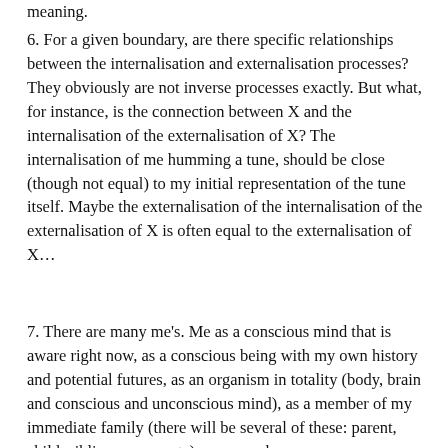meaning.
6. For a given boundary, are there specific relationships between the internalisation and externalisation processes? They obviously are not inverse processes exactly. But what, for instance, is the connection between X and the internalisation of the externalisation of X? The internalisation of me humming a tune, should be close (though not equal) to my initial representation of the tune itself. Maybe the externalisation of the internalisation of the externalisation of X is often equal to the externalisation of X…
7. There are many me's. Me as a conscious mind that is aware right now, as a conscious being with my own history and potential futures, as an organism in totality (body, brain and conscious and unconscious mind), as a member of my immediate family (there will be several of these: parent, child, sibling, spouse etc), as a member